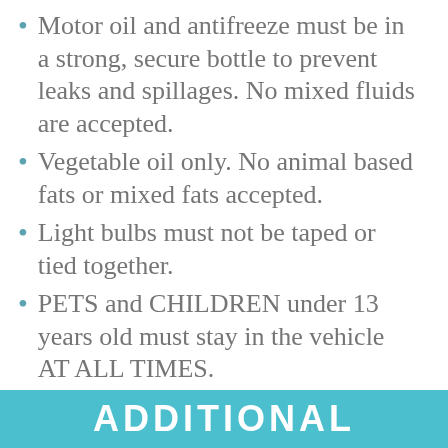Motor oil and antifreeze must be in a strong, secure bottle to prevent leaks and spillages. No mixed fluids are accepted.
Vegetable oil only. No animal based fats or mixed fats accepted.
Light bulbs must not be taped or tied together.
PETS and CHILDREN under 13 years old must stay in the vehicle AT ALL TIMES.
Staff can refuse any material deemed unsuitable.
ADDITIONAL